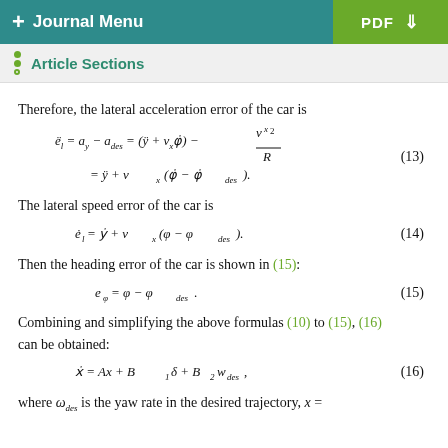+ Journal Menu | PDF
Article Sections
Therefore, the lateral acceleration error of the car is
The lateral speed error of the car is
Then the heading error of the car is shown in (15):
Combining and simplifying the above formulas (10) to (15), (16) can be obtained:
where ω_des is the yaw rate in the desired trajectory, x =